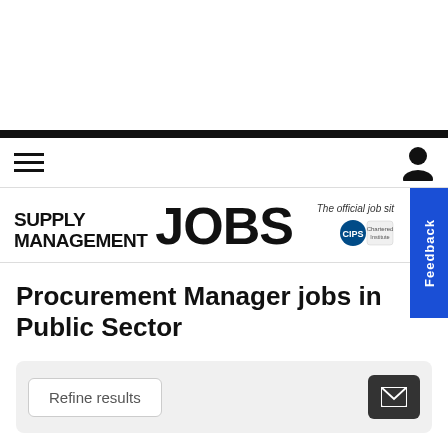SUPPLY MANAGEMENT JOBS — The official job site
Procurement Manager jobs in Public Sector
Refine results